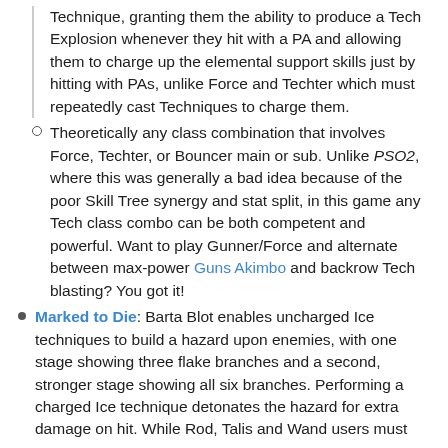Technique, granting them the ability to produce a Tech Explosion whenever they hit with a PA and allowing them to charge up the elemental support skills just by hitting with PAs, unlike Force and Techter which must repeatedly cast Techniques to charge them.
Theoretically any class combination that involves Force, Techter, or Bouncer main or sub. Unlike PSO2, where this was generally a bad idea because of the poor Skill Tree synergy and stat split, in this game any Tech class combo can be both competent and powerful. Want to play Gunner/Force and alternate between max-power Guns Akimbo and backrow Tech blasting? You got it!
Marked to Die: Barta Blot enables uncharged Ice techniques to build a hazard upon enemies, with one stage showing three flake branches and a second, stronger stage showing all six branches. Performing a charged Ice technique detonates the hazard for extra damage on hit. While Rod, Talis and Wand users must